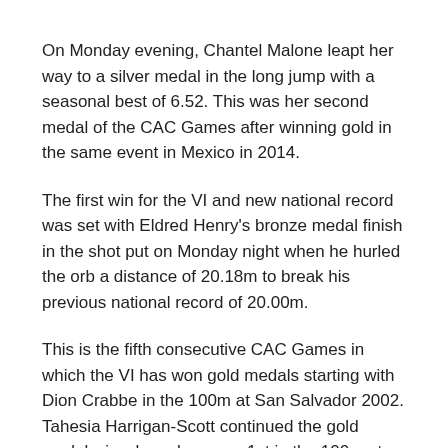On Monday evening, Chantel Malone leapt her way to a silver medal in the long jump with a seasonal best of 6.52. This was her second medal of the CAC Games after winning gold in the same event in Mexico in 2014.
The first win for the VI and new national record was set with Eldred Henry's bronze medal finish in the shot put on Monday night when he hurled the orb a distance of 20.18m to break his previous national record of 20.00m.
This is the fifth consecutive CAC Games in which the VI has won gold medals starting with Dion Crabbe in the 100m at San Salvador 2002. Tahesia Harrigan-Scott continued the gold medal win when she came 1st in the 100m at Cartagena 2006 and again at Mayaguez 2010. Chantel won the fourth gold in long jump at Mexico 2014 and now the VI has its fifth gold with Kyron's win. It is the first time at the CAC Games that the territory's athletes have won 3 medals.